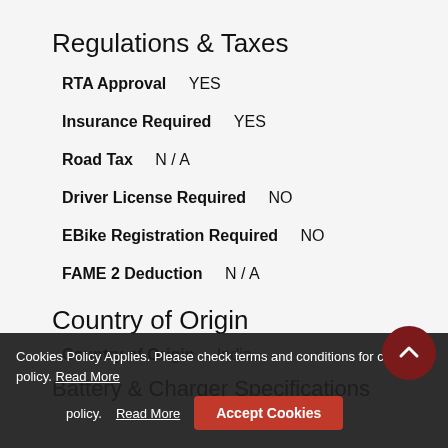Regulations & Taxes
RTA Approval    YES
Insurance Required    YES
Road Tax    N / A
Driver License Required    NO
EBike Registration Required    NO
FAME 2 Deduction    N / A
Country of Origin
Country of Origin    India
Battery & Charger Specifications
Cookies Policy Applies. Please check terms and conditions for cookies policy. Read More    Accept Cookies